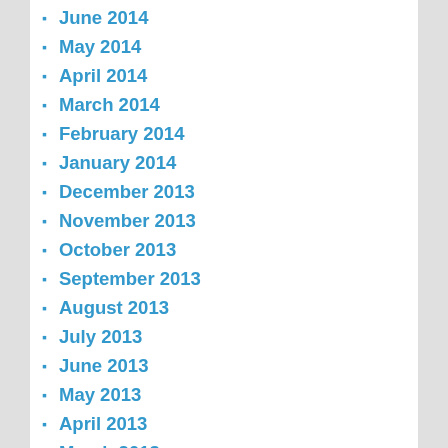June 2014
May 2014
April 2014
March 2014
February 2014
January 2014
December 2013
November 2013
October 2013
September 2013
August 2013
July 2013
June 2013
May 2013
April 2013
March 2013
February 2013
January 2013
December 2012
November 2012
August 2012